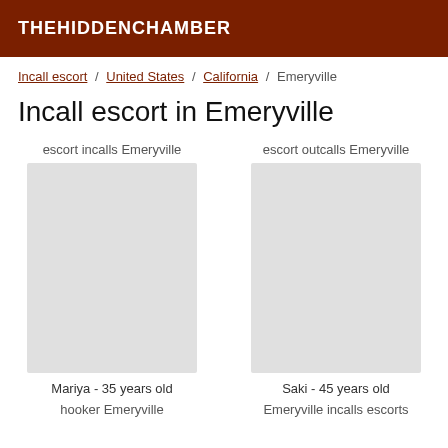THEHIDDENCHAMBER
Incall escort / United States / California / Emeryville
Incall escort in Emeryville
escort incalls Emeryville
escort outcalls Emeryville
Mariya - 35 years old
Saki - 45 years old
hooker Emeryville
Emeryville incalls escorts